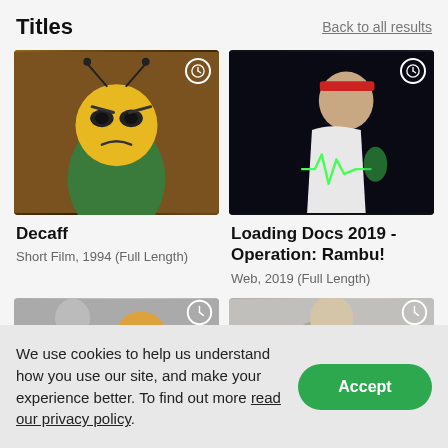Titles
Back to all results
[Figure (photo): Animated bee character with angry expression wearing a dark green shirt, against a brown wooden background. Clock icon in top right corner.]
Decaff
Short Film, 1994 (Full Length)
[Figure (photo): Man in white tank top with red headband, with a green heartbeat line graphic on his chest, against a dark background. Clock icon in top right corner.]
Loading Docs 2019 - Operation: Rambu!
Web, 2019 (Full Length)
[Figure (photo): Partially visible thumbnail showing a person's head with colorful element, grey background. Clock icon visible.]
[Figure (photo): Partially visible thumbnail showing a person's head against light background. Clock icon visible.]
We use cookies to help us understand how you use our site, and make your experience better. To find out more read our privacy policy.